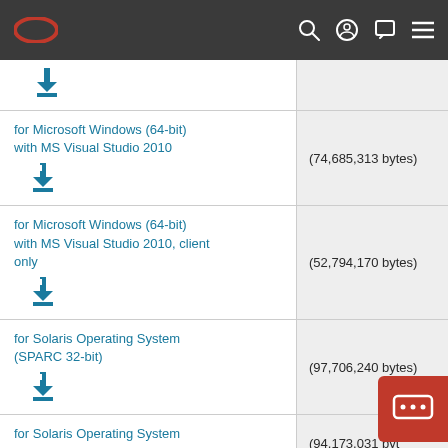Oracle navigation bar with logo and icons
| Description | Size |
| --- | --- |
| [download icon only] |  |
| for Microsoft Windows (64-bit) with MS Visual Studio 2010 | (74,685,313 bytes) |
| for Microsoft Windows (64-bit) with MS Visual Studio 2010, client only | (52,794,170 bytes) |
| for Solaris Operating System (SPARC 32-bit) | (97,706,240 bytes) |
| for Solaris Operating System (SPARC 64-bit) | (94,173,031 byt... |